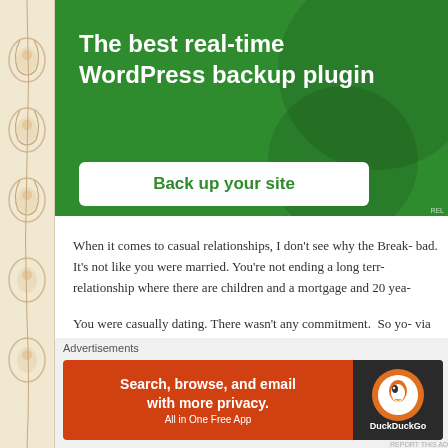[Figure (illustration): Decorative left margin with floral/ornamental pattern on cream/beige background]
[Figure (screenshot): Green advertisement banner: 'The best real-time WordPress backup plugin' with 'Back up your site' button]
When it comes to casual relationships, I don't see why the Break- bad. It's not like you were married. You're not ending a long terr- relationship where there are children and a mortgage and 20 yea-
You were casually dating. There wasn't any commitment.  So yo- via text or even a Post-it note may not be the best way to end thi- worst way either.
[Figure (screenshot): DuckDuckGo advertisement: 'Search, browse, and email with more privacy. All in One Free App' with DuckDuckGo logo on dark background]